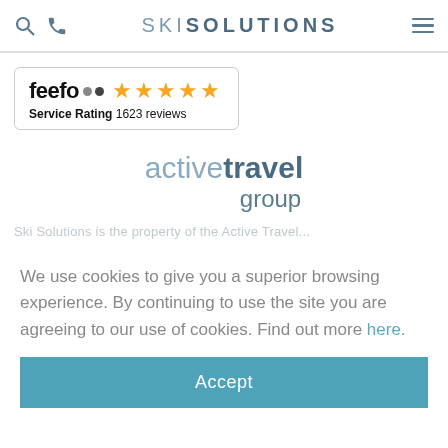SKI SOLUTIONS
[Figure (logo): Feefo service rating badge showing 5 stars and 1623 reviews]
[Figure (logo): Active Travel Group logo]
We use cookies to give you a superior browsing experience. By continuing to use the site you are agreeing to our use of cookies. Find out more here.
Accept